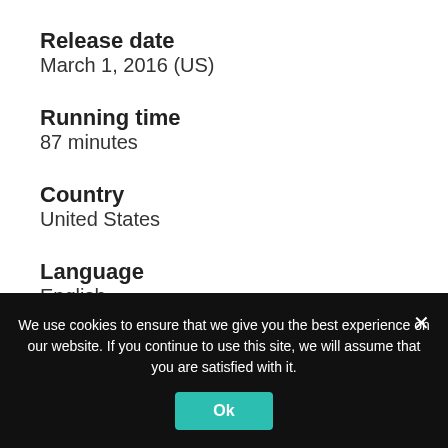Release date
March 1, 2016 (US)
Running time
87 minutes
Country
United States
Language
English
We use cookies to ensure that we give you the best experience on our website. If you continue to use this site, we will assume that you are satisfied with it.